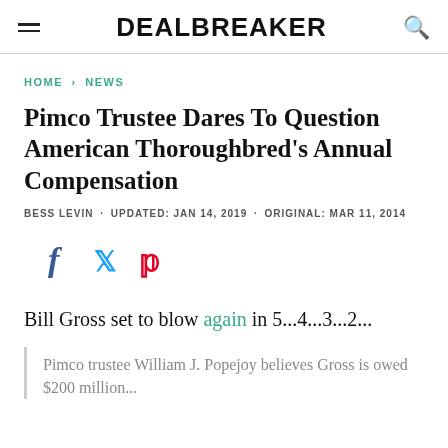DEALBREAKER
HOME > NEWS
Pimco Trustee Dares To Question American Thoroughbred's Annual Compensation
BESS LEVIN · UPDATED: JAN 14, 2019 · ORIGINAL: MAR 11, 2014
[Figure (infographic): Social share icons: Facebook (f), Twitter (bird), Pinterest (P)]
Bill Gross set to blow again in 5...4...3...2...
Pimco trustee William J. Popejoy believes Gross is owed $200 million...